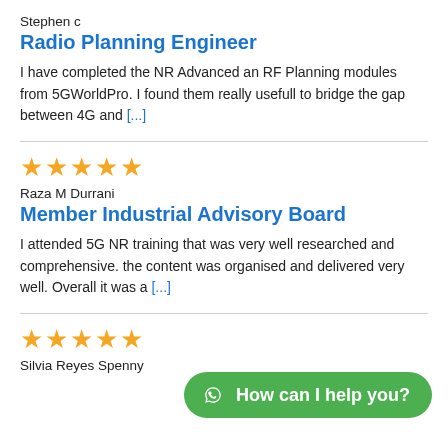Stephen c
Radio Planning Engineer
I have completed the NR Advanced an RF Planning modules from 5GWorldPro. I found them really usefull to bridge the gap between 4G and [...]
★★★★★
Raza M Durrani
Member Industrial Advisory Board
I attended 5G NR training that was very well researched and comprehensive. the content was organised and delivered very well. Overall it was a [...]
★★★★★
Silvia Reyes Spenny
How can I help you?